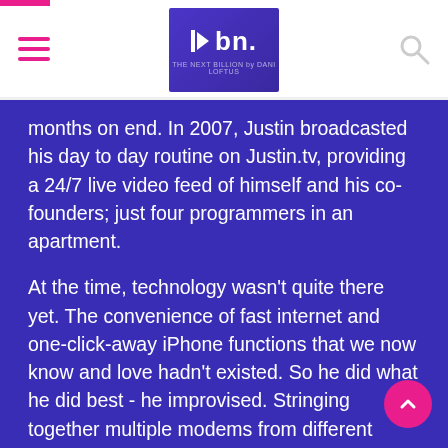bn. — The Next Billion by Dani Loftus
months on end. In 2007, Justin broadcasted his day to day routine on Justin.tv, providing a 24/7 live video feed of himself and his co-founders; just four programmers in an apartment.
At the time, technology wasn't quite there yet. The convenience of fast internet and one-click-away iPhone functions that we now know and love hadn't existed. So he did what he did best - he improvised. Stringing together multiple modems from different providers onto one computer, he sent the video by multiplexing it over numerous cell phone connections.